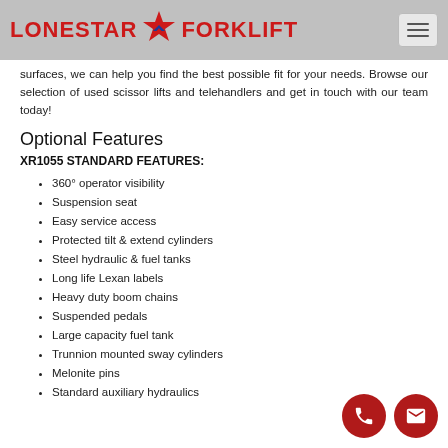LONESTAR FORKLIFT
surfaces, we can help you find the best possible fit for your needs. Browse our selection of used scissor lifts and telehandlers and get in touch with our team today!
Optional Features
XR1055 STANDARD FEATURES:
360° operator visibility
Suspension seat
Easy service access
Protected tilt & extend cylinders
Steel hydraulic & fuel tanks
Long life Lexan labels
Heavy duty boom chains
Suspended pedals
Large capacity fuel tank
Trunnion mounted sway cylinders
Melonite pins
Standard auxiliary hydraulics